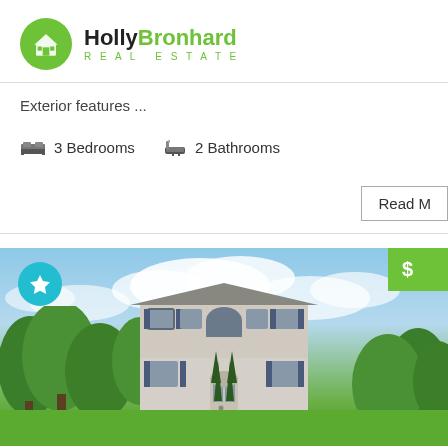[Figure (logo): Holly Bronhard Real Estate logo — green circle with house icon, bold text 'HollyBronhard', subtitle 'REAL ESTATE' in green]
Exterior features ...
3 Bedrooms   2 Bathrooms
Read M
[Figure (photo): Exterior photo of a two-story colonial-style house with gray siding, dark shutters, arched window, surrounded by green trees and lawn. Teal star favorite button overlay on top left, green price button on top right.]